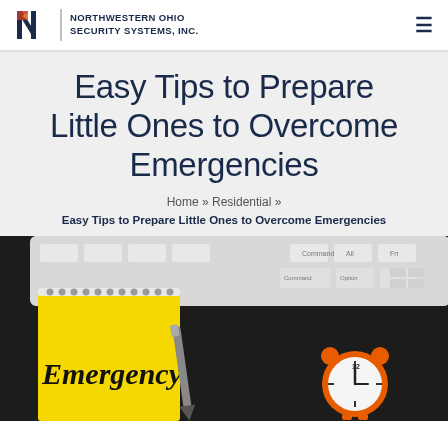NORTHWESTERN OHIO SECURITY SYSTEMS, INC.
Easy Tips to Prepare Little Ones to Overcome Emergencies
Home » Residential »
Easy Tips to Prepare Little Ones to Overcome Emergencies
[Figure (photo): A yellow spiral notepad with 'Emergency' written in bold italic text, a pen, and an orange alarm clock on a dark desk surface with a computer keyboard in the background.]